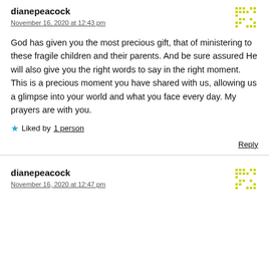dianepeacock
November 16, 2020 at 12:43 pm
God has given you the most precious gift, that of ministering to these fragile children and their parents. And be sure assured He will also give you the right words to say in the right moment. This is a precious moment you have shared with us, allowing us a glimpse into your world and what you face every day. My prayers are with you.
Liked by 1 person
Reply
dianepeacock
November 16, 2020 at 12:47 pm